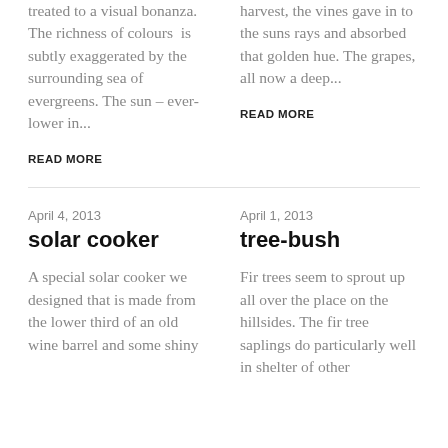treated to a visual bonanza. The richness of colours  is subtly exaggerated by the surrounding sea of evergreens. The sun – ever-lower in...
harvest, the vines gave in to the suns rays and absorbed that golden hue. The grapes, all now a deep...
READ MORE
READ MORE
April 4, 2013
solar cooker
A special solar cooker we designed that is made from the lower third of an old wine barrel and some shiny
April 1, 2013
tree-bush
Fir trees seem to sprout up all over the place on the hillsides. The fir tree saplings do particularly well in shelter of other